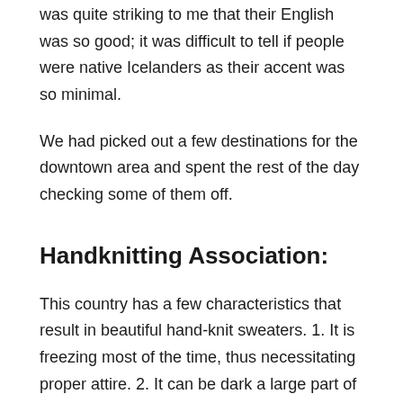was quite striking to me that their English was so good; it was difficult to tell if people were native Icelanders as their accent was so minimal.
We had picked out a few destinations for the downtown area and spent the rest of the day checking some of them off.
Handknitting Association:
This country has a few characteristics that result in beautiful hand-knit sweaters. 1. It is freezing most of the time, thus necessitating proper attire. 2. It can be dark a large part of the winter, so there is plenty of time to knit. 3. Icelandic sheep are the fluffiest and furriest sheep I've ever seen, hence an abundant supply